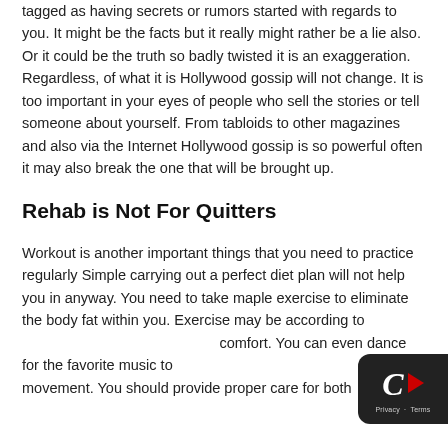tagged as having secrets or rumors started with regards to you. It might be the facts but it really might rather be a lie also. Or it could be the truth so badly twisted it is an exaggeration. Regardless, of what it is Hollywood gossip will not change. It is too important in your eyes of people who sell the stories or tell someone about yourself. From tabloids to other magazines and also via the Internet Hollywood gossip is so powerful often it may also break the one that will be brought up.
Rehab is Not For Quitters
Workout is another important things that you need to practice regularly Simple carrying out a perfect diet plan will not help you in anyway. You need to take maple exercise to eliminate the body fat within you. Exercise may be according to comfort. You can even dance for the favorite music to a body movement. You should provide proper care for both